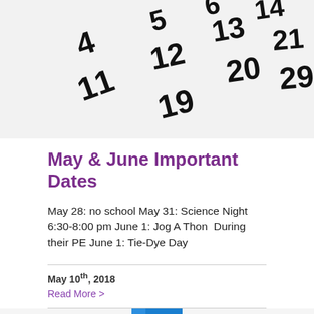[Figure (photo): Close-up photo of scattered calendar number tiles showing numbers 4, 5, 6, 11, 12, 13, 14, 19, 20, 21, 29 in black on white background]
May & June Important Dates
May 28: no school May 31: Science Night 6:30-8:00 pm June 1: Jog A Thon  During their PE June 1: Tie-Dye Day
May 10th, 2018
Read More >
[Figure (photo): Partial photo of blue 3D plus/cross symbol or puzzle piece on white background, cropped at bottom of page]